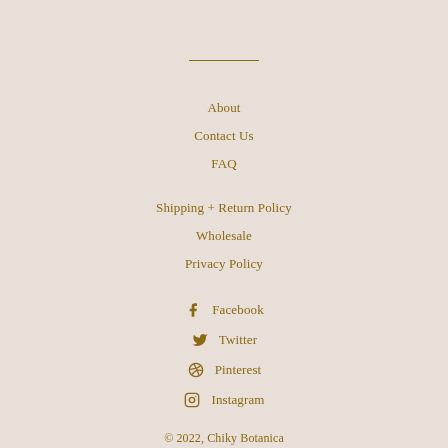About
Contact Us
FAQ
Shipping + Return Policy
Wholesale
Privacy Policy
Facebook
Twitter
Pinterest
Instagram
© 2022, Chiky Botanica